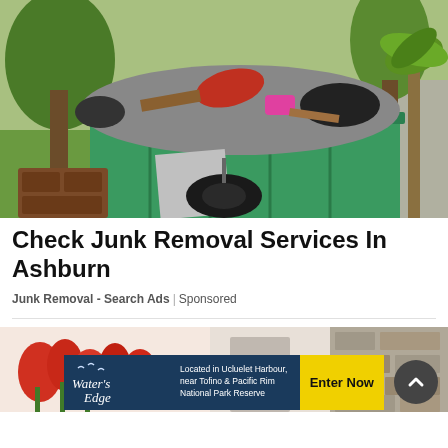[Figure (photo): A large green dumpster overflowing with junk and debris including clothing, furniture, and miscellaneous waste, situated on grass beneath palm trees with a tire on the ground nearby.]
Check Junk Removal Services In Ashburn
Junk Removal - Search Ads | Sponsored
[Figure (photo): Partial view of an interior room with a floral wall mural showing red tulips, a door, and a stone or textured wall panel.]
[Figure (infographic): Advertisement banner for Water's Edge resort in Ucluelet Harbour near Tofino and Pacific Rim National Park Reserve with an 'Enter Now' button.]